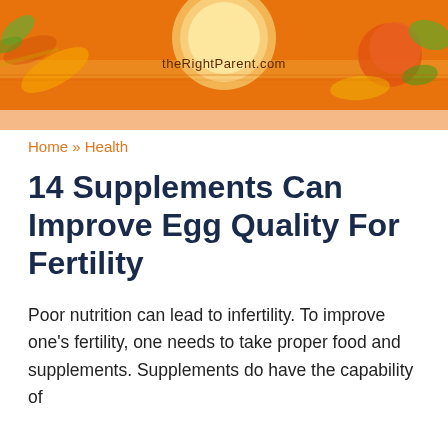[Figure (illustration): Decorative orange header banner with food/fruit illustrations and a circular element in the center]
theRightParent.com
Home » Health
14 Supplements Can Improve Egg Quality For Fertility
Poor nutrition can lead to infertility. To improve one's fertility, one needs to take proper food and supplements. Supplements do have the capability of